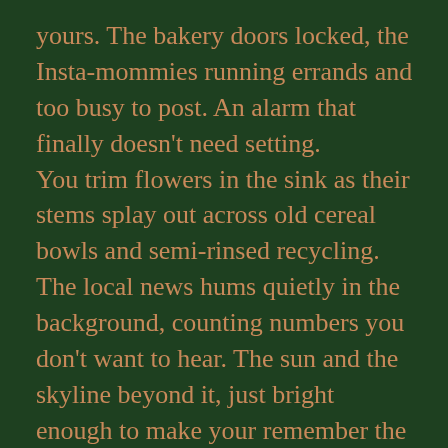yours. The bakery doors locked, the Insta-mommies running errands and too busy to post. An alarm that finally doesn't need setting.
You trim flowers in the sink as their stems splay out across old cereal bowls and semi-rinsed recycling. The local news hums quietly in the background, counting numbers you don't want to hear. The sun and the skyline beyond it, just bright enough to make your remember the sourdough you are burning from a bakery you feel is your own. Your home. Looking out